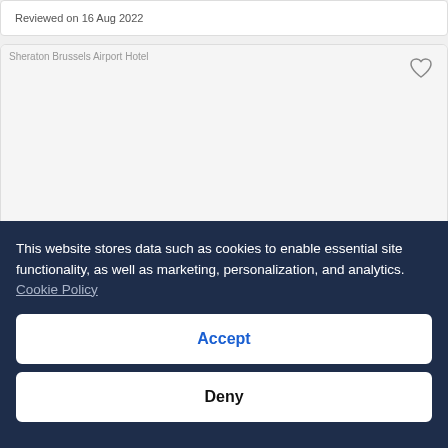Reviewed on 16 Aug 2022
[Figure (photo): Sheraton Brussels Airport Hotel image placeholder]
Sheraton Brussels Airport Hotel
£135 per night
[Figure (other): 4 star rating icons]
This website stores data such as cookies to enable essential site functionality, as well as marketing, personalization, and analytics. Cookie Policy
Accept
Deny